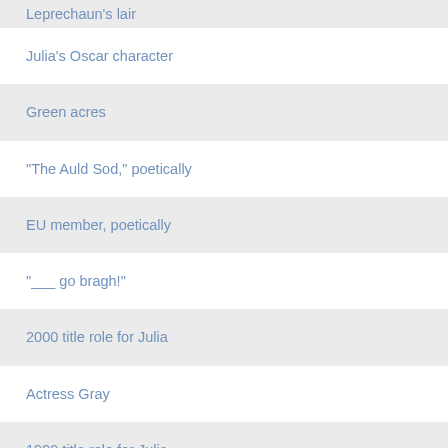Leprechaun's lair
Julia's Oscar character
Green acres
"The Auld Sod," poetically
EU member, poetically
"___ go bragh!"
2000 title role for Julia
Actress Gray
1999 title role for Julia
Actress Gray